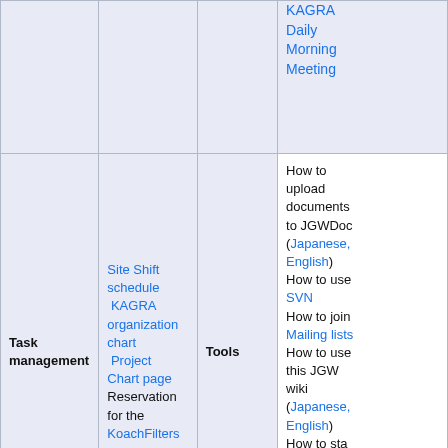|  |  |  | KAGRA Daily Morning Meeting |
| Task management | Site Shift schedule
KAGRA organization chart
Project Chart page
Reservation for the KoachFilters | Tools | How to upload documents to JGWDoc (Japanese, English)
How to use SVN
How to join Mailing lists
How to use this JGW wiki (Japanese, English)
How to start using klog
How to use Remote participation tools |